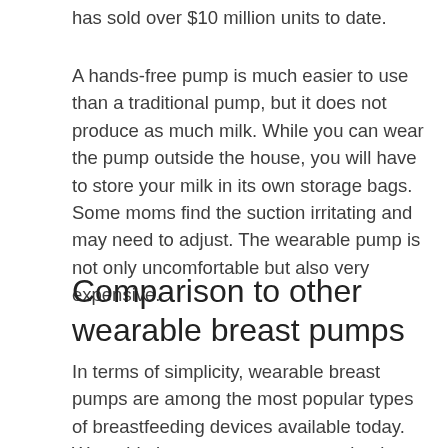has sold over $10 million units to date.
A hands-free pump is much easier to use than a traditional pump, but it does not produce as much milk. While you can wear the pump outside the house, you will have to store your milk in its own storage bags. Some moms find the suction irritating and may need to adjust. The wearable pump is not only uncomfortable but also very expensive.
Comparison to other wearable breast pumps
In terms of simplicity, wearable breast pumps are among the most popular types of breastfeeding devices available today. Wearable breast pumps are completely self-contained and